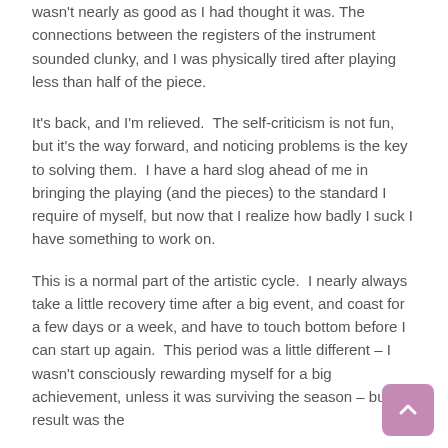wasn't nearly as good as I had thought it was. The connections between the registers of the instrument sounded clunky, and I was physically tired after playing less than half of the piece.
It's back, and I'm relieved. The self-criticism is not fun, but it's the way forward, and noticing problems is the key to solving them. I have a hard slog ahead of me in bringing the playing (and the pieces) to the standard I require of myself, but now that I realize how badly I suck I have something to work on.
This is a normal part of the artistic cycle. I nearly always take a little recovery time after a big event, and coast for a few days or a week, and have to touch bottom before I can start up again. This period was a little different – I wasn't consciously rewarding myself for a big achievement, unless it was surviving the season – but the result was the